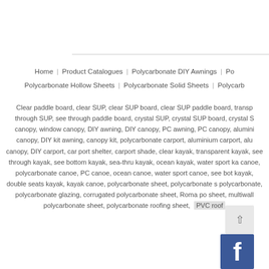Home | Product Catalogues | Polycarbonate DIY Awnings | P... | Polycarbonate Hollow Sheets | Polycarbonate Solid Sheets | Polycarb...
Clear paddle board, clear SUP, clear SUP board, clear SUP paddle board, transp... through SUP, see through paddle board, crystal SUP, crystal SUP board, crystal S... canopy, window canopy, DIY awning, DIY canopy, PC awning, PC canopy, alumin... canopy, DIY kit awning, canopy kit, polycarbonate carport, aluminium carport, alu... canopy, DIY carport, car port shelter, carport shade, clear kayak, transparent kayak,... see through kayak, see bottom kayak, sea-thru kayak, ocean kayak, water sport ka... canoe, polycarbonate canoe, PC canoe, ocean canoe, water sport canoe, see bot... kayak, double seats kayak, kayak canoe, polycarbonate sheet, polycarbonate s... polycarbonate, polycarbonate glazing, corrugated polycarbonate sheet, Roma po... sheet, multiwall polycarbonate sheet, polycarbonate roofing sheet, PVC roof...